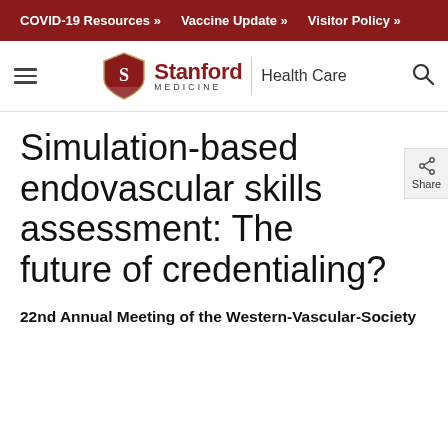COVID-19 Resources »   Vaccine Update »   Visitor Policy »
[Figure (logo): Stanford Medicine Health Care logo with shield emblem, hamburger menu icon, and search icon]
Simulation-based endovascular skills assessment: The future of credentialing?
22nd Annual Meeting of the Western-Vascular-Society